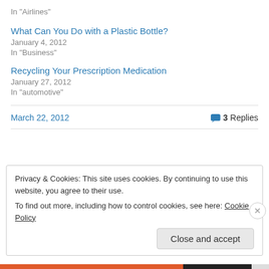In "Airlines"
What Can You Do with a Plastic Bottle?
January 4, 2012
In "Business"
Recycling Your Prescription Medication
January 27, 2012
In "automotive"
March 22, 2012   3 Replies
Privacy & Cookies: This site uses cookies. By continuing to use this website, you agree to their use. To find out more, including how to control cookies, see here: Cookie Policy
Close and accept